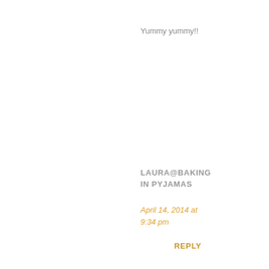Yummy yummy!!
LAURA@BAKING IN PYJAMAS
April 14, 2014 at 9:34 pm
REPLY
How cute, I love them!
DANI
April 14, 2014